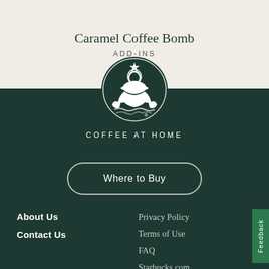Caramel Coffee Bomb
ADD-INS
[Figure (logo): Starbucks Coffee at Home circular siren logo in dark green and white]
COFFEE AT HOME
Where to Buy
About Us
Contact Us
Privacy Policy
Terms of Use
FAQ
Starbucks.com
Site Map
Feedback